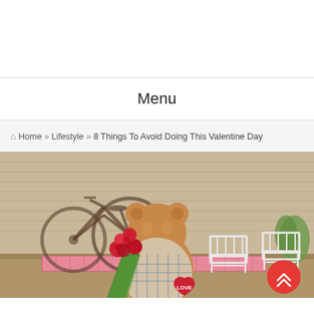Menu
🏠 Home » Lifestyle » 8 Things To Avoid Doing This Valentine Day
[Figure (photo): A teddy bear holding a bouquet of red roses wrapped in green paper and a red heart with 'LOVE' text, seen from behind. In the background: a vintage bicycle, two white garden chairs, and a wooden fence wall. Valentine's Day themed scene.]